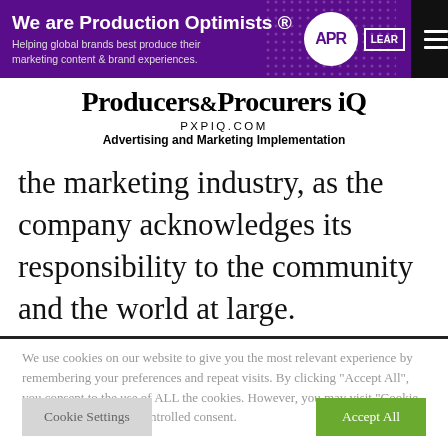We are Production Optimists ® — Helping global brands best produce their marketing content & brand experiences.
Producers & Procurers iQ — PXPIQ.COM — Advertising and Marketing Implementation
the marketing industry, as the company acknowledges its responsibility to the community and the world at large.
We use cookies on our website to give you the most relevant experience by remembering your preferences and repeat visits. By clicking "Accept All", you consent to the use of ALL the cookies. However, you may visit "Cookie Settings" to provide a controlled consent.